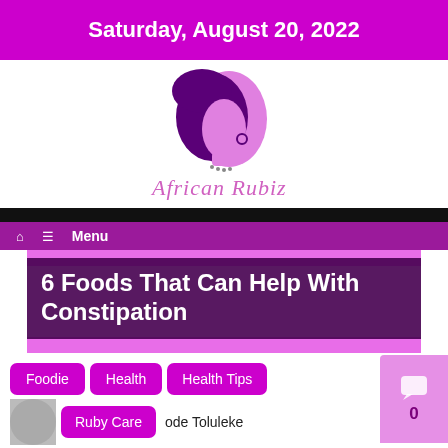Saturday, August 20, 2022
[Figure (logo): African Rubiz logo: purple silhouette of a woman's head with natural hair and earring, with pink face detail, and italic script text 'African Rubiz' in pink below]
6 Foods That Can Help With Constipation
Foodie
Health
Health Tips
Ruby Care
ode Toluleke
Posted on: